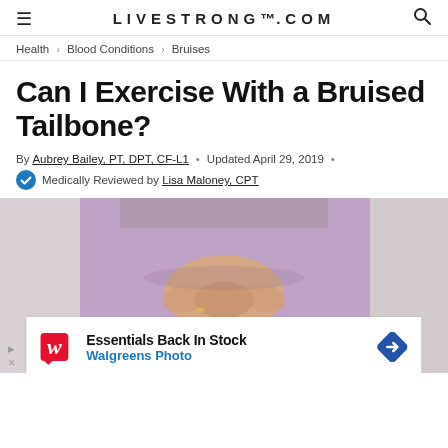LIVESTRONG.COM
Health > Blood Conditions > Bruises
Can I Exercise With a Bruised Tailbone?
By Aubrey Bailey, PT, DPT, CF-L1 • Updated April 29, 2019 •
Medically Reviewed by Lisa Maloney, CPT
[Figure (photo): Person's hands clasped together on a purple yoga mat, shot from above]
Essentials Back In Stock
Walgreens Photo